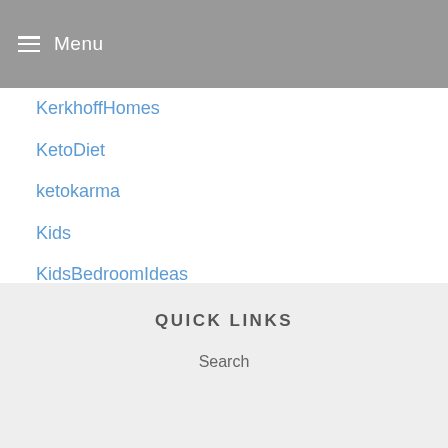Menu
KerkhoffHomes
KetoDiet
ketokarma
Kids
KidsBedroomIdeas
KidsPreschool
KidsRoomInterior
KidsRoomInteriorDesign
KidsRoomRugs
KidsRoomStorage
QUICK LINKS
Search